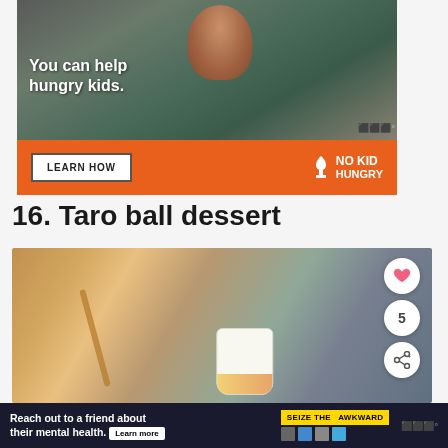[Figure (photo): Advertisement: Child eating food with text 'You can help hungry kids.' and 'LEARN HOW' button and No Kid Hungry logo on orange bar]
16. Taro ball dessert
[Figure (photo): Photo of person holding a paper cup of taro ball dessert with chopsticks, with heart/like button, count 5, and share button overlay]
[Figure (photo): Bottom advertisement: 'Reach out to a friend about their mental health. Learn more' with Seize the Awkward badge]